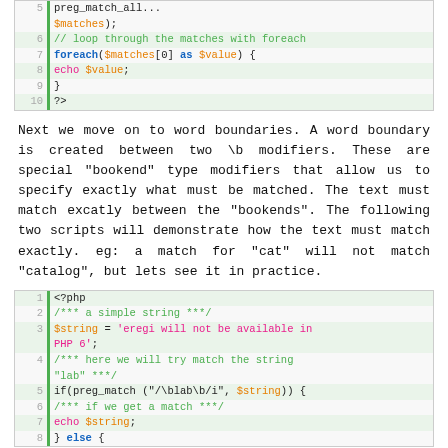[Figure (screenshot): PHP code block showing lines 5-10: preg_match_all with $matches, foreach loop through matches, echo $value, closing brace, ?>]
Next we move on to word boundaries. A word boundary is created between two \b modifiers. These are special "bookend" type modifiers that allow us to specify exactly what must be matched. The text must match excatly between the "bookends". The following two scripts will demonstrate how the text must match exactly. eg: a match for "cat" will not match "catalog", but lets see it in practice.
[Figure (screenshot): PHP code block showing lines 1-8: <?php, comment, $string assignment with eregi warning, comment about matching lab, if(preg_match with \blab\b/i pattern, comment if match, echo $string, } else {]